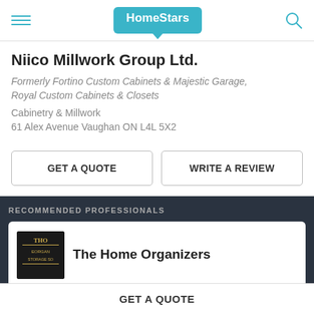HomeStars
Niico Millwork Group Ltd.
Formerly Fortino Custom Cabinets & Majestic Garage, Royal Custom Cabinets & Closets
Cabinetry & Millwork
61 Alex Avenue Vaughan ON L4L 5X2
GET A QUOTE
WRITE A REVIEW
RECOMMENDED PROFESSIONALS
The Home Organizers
87% (1 reviews)
GET A QUOTE
GET A QUOTE